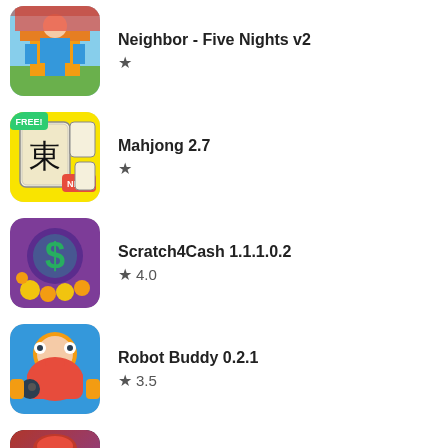Neighbor - Five Nights v2 (rating: star only)
[Figure (illustration): App icon for Neighbor - Five Nights v2: blocky cartoon character in blue overalls]
Mahjong 2.7 (rating: star only)
[Figure (illustration): App icon for Mahjong 2.7: mahjong tile with Chinese character, FREE and NEW badges, yellow background]
Scratch4Cash 1.1.1.0.2, rating: 4.0
[Figure (illustration): App icon for Scratch4Cash 1.1.1.0.2: green dollar sign on purple background with coins]
Robot Buddy 0.2.1, rating: 3.5
[Figure (illustration): App icon for Robot Buddy 0.2.1: colorful cartoon robot buddy character]
婷婷婷婷婷婷 - 婷婷婷婷婷婷婷婷婷婷婷婷 2.6.0401934, rating: 4.0
[Figure (illustration): App icon for the last app: Asian character in red hat against dramatic background]